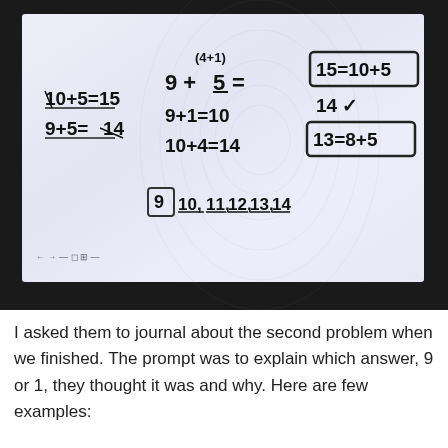[Figure (photo): Photo of a whiteboard/tablet screen showing arithmetic problems: '10+5=15, 9+5=14', '9+ (4+1) 5= , 9+1=10, 10+4=14', boxed '15=10+5', '14 checkmark', boxed '13=8+5', and a counting sequence '9, 10, 11, 12, 13, 14']
I asked them to journal about the second problem when we finished. The prompt was to explain which answer, 9 or 1, they thought it was and why. Here are few examples: